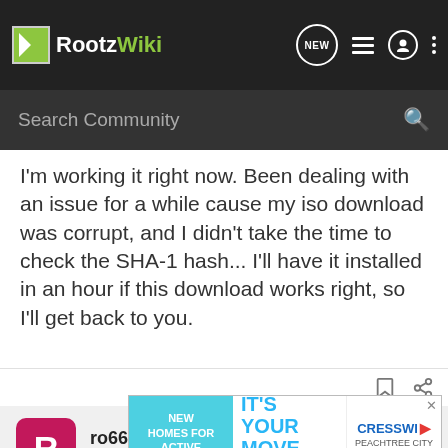RootzWiki
Search Community
I'm working it right now. Been dealing with an issue for a while cause my iso download was corrupt, and I didn't take the time to check the SHA-1 hash... I'll have it installed in an hour if this download works right, so I'll get back to you.
ro6666lt · Banned
Joined Sep 1, 2011 · 1,227 Posts
#7 · Sep 14, 2011
I installe... preview...
[Figure (screenshot): Advertisement overlay: NEW HOMES FOR ACTIVE ADULTS | IT'S YOUR MOVE. | Preview Homes | CRESSWIND PEACHTREE CITY 55+ Community]